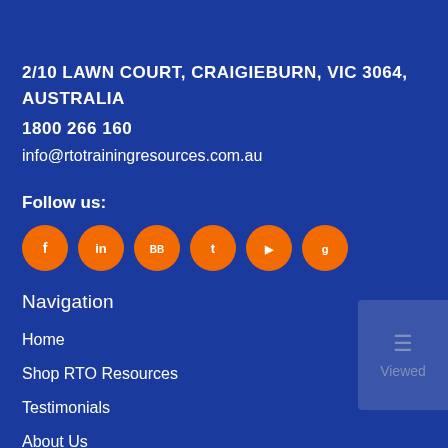2/10 LAWN COURT, CRAIGIEBURN, VIC 3064, AUSTRALIA
1800 266 160
info@rtotrainingresources.com.au
Follow us:
[Figure (other): Six orange circular social media icon buttons in a row]
Navigation
Home
Shop RTO Resources
Testimonials
About Us
Blog